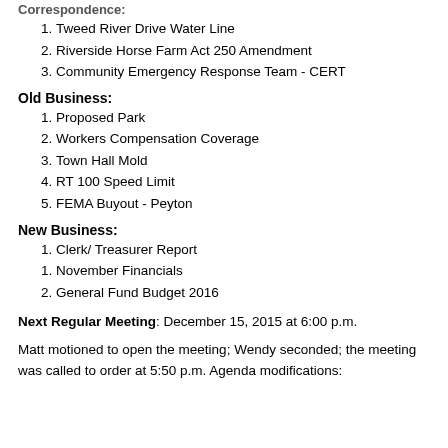Correspondence:
1. Tweed River Drive Water Line
2. Riverside Horse Farm Act 250 Amendment
3. Community Emergency Response Team - CERT
Old Business:
1. Proposed Park
2. Workers Compensation Coverage
3. Town Hall Mold
4. RT 100 Speed Limit
5. FEMA Buyout - Peyton
New Business:
1. Clerk/ Treasurer Report
1. November Financials
2. General Fund Budget 2016
Next Regular Meeting:  December 15, 2015 at 6:00 p.m.
Matt motioned to open the meeting; Wendy seconded; the meeting was called to order at 5:50 p.m. Agenda modifications: